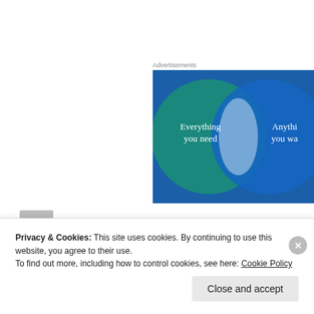Advertisements
[Figure (illustration): Advertisement banner with Venn diagram showing two overlapping circles on blue/teal background. Left circle (teal) reads 'Everything you need', right circle (blue) reads 'Anything you wa...' with overlapping region in light blue/white.]
Bob L., Oklahoma City says:
Privacy & Cookies: This site uses cookies. By continuing to use this website, you agree to their use.
To find out more, including how to control cookies, see here: Cookie Policy